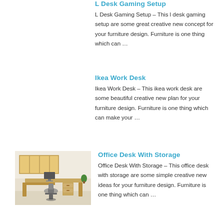L Desk Gaming Setup
L Desk Gaming Setup – This l desk gaming setup are some great creative new concept for your furniture design. Furniture is one thing which can …
Ikea Work Desk
Ikea Work Desk – This ikea work desk are some beautiful creative new plan for your furniture design. Furniture is one thing which can make your …
[Figure (photo): Photo of an L-shaped office desk with storage, wooden finish, with a chair and shelving unit on the wall]
Office Desk With Storage
Office Desk With Storage – This office desk with storage are some simple creative new ideas for your furniture design. Furniture is one thing which can …